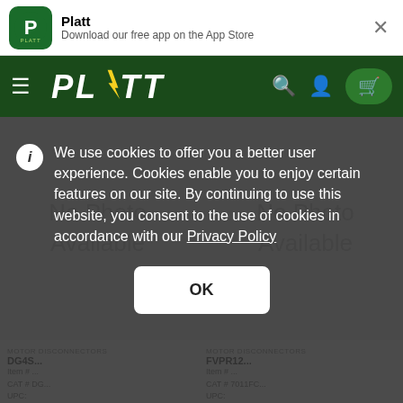Platt — Download our free app on the App Store
[Figure (screenshot): Platt website navigation bar with green background, hamburger menu, PLATT logo, search icon, user icon, and cart button]
[Figure (screenshot): Two product cards showing No Photo Available placeholder images]
MOTOR DISCONNECTORS DG4S... Item # ... CAT # ... UPC:
MOTOR DISCONNECTORS ... Item # ... CAT # ... UPC:
Call for price
Call for price
Company wide:
Company wide:
We use cookies to offer you a better user experience. Cookies enable you to enjoy certain features on our site. By continuing to use this website, you consent to the use of cookies in accordance with our Privacy Policy
OK